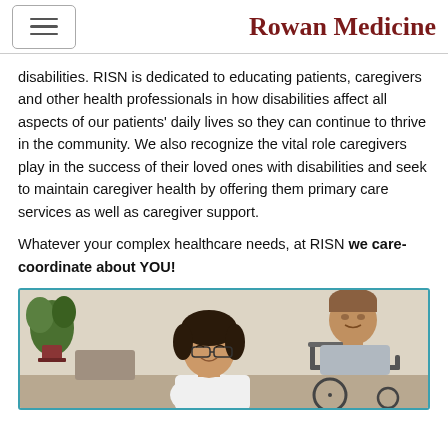Rowan Medicine
disabilities. RISN is dedicated to educating patients, caregivers and other health professionals in how disabilities affect all aspects of our patients' daily lives so they can continue to thrive in the community. We also recognize the vital role caregivers play in the success of their loved ones with disabilities and seek to maintain caregiver health by offering them primary care services as well as caregiver support.

Whatever your complex healthcare needs, at RISN we care-coordinate about YOU!
[Figure (photo): A woman with glasses and dark hair (wearing white) smiling and talking with a man in a wheelchair in what appears to be a medical or rehabilitation setting. There is a plant visible on the left side of the image.]